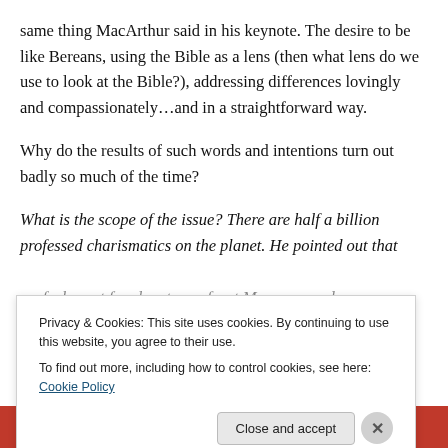same thing MacArthur said in his keynote. The desire to be like Bereans, using the Bible as a lens (then what lens do we use to look at the Bible?), addressing differences lovingly and compassionately…and in a straightforward way.
Why do the results of such words and intentions turn out badly so much of the time?
What is the scope of the issue? There are half a billion professed charismatics on the planet. He pointed out that we feel great freedom to confront Mormons and
Privacy & Cookies: This site uses cookies. By continuing to use this website, you agree to their use.
To find out more, including how to control cookies, see here: Cookie Policy
Close and accept